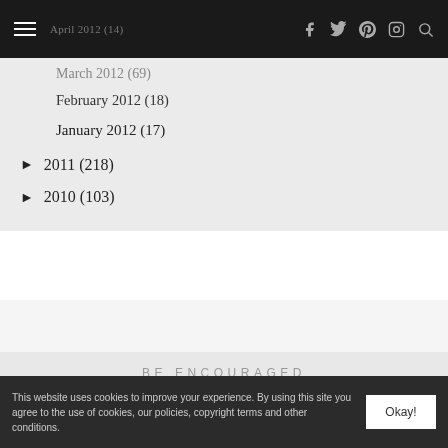Navigation bar with hamburger menu and social icons (Facebook, Twitter, Pinterest, Instagram, Search)
April 2012 (14)
March 2012 (69)
February 2012 (18)
January 2012 (17)
► 2011 (218)
► 2010 (103)
BE ENCOURAGED
[Figure (photo): Smooth white/grey stones on a light blue misty background, arranged in a zen-like stack]
BACK TO TOP
This website uses cookies to improve your experience. By using this site you agree to the use of cookies, our policies, copyright terms and other conditions.
Okay!